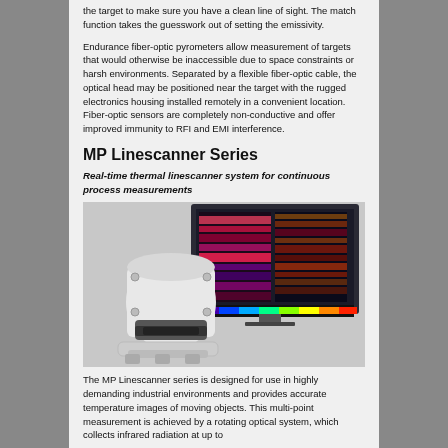the target to make sure you have a clean line of sight. The match function takes the guesswork out of setting the emissivity.
Endurance fiber-optic pyrometers allow measurement of targets that would otherwise be inaccessible due to space constraints or harsh environments. Separated by a flexible fiber-optic cable, the optical head may be positioned near the target with the rugged electronics housing installed remotely in a convenient location. Fiber-optic sensors are completely non-conductive and offer improved immunity to RFI and EMI interference.
MP Linescanner Series
Real-time thermal linescanner system for continuous process measurements
[Figure (photo): Photo of MP Linescanner hardware device (white/grey rotating optical unit) in front of a computer monitor displaying thermal linescanner software with colorful heat map imagery.]
The MP Linescanner series is designed for use in highly demanding industrial environments and provides accurate temperature images of moving objects. This multi-point measurement is achieved by a rotating optical system, which collects infrared radiation at up to